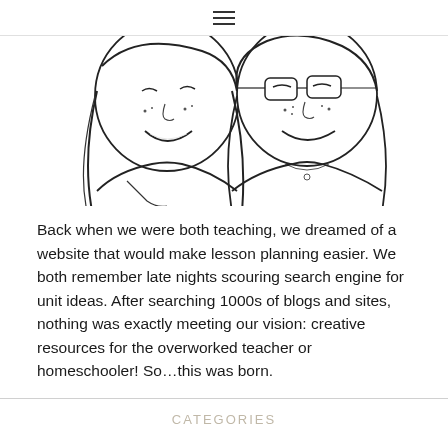≡
[Figure (illustration): Line drawing illustration of two young girls/women with long hair, smiling, shown from the shoulders up. Sketch/cartoon style in black and white.]
Back when we were both teaching, we dreamed of a website that would make lesson planning easier. We both remember late nights scouring search engine for unit ideas. After searching 1000s of blogs and sites, nothing was exactly meeting our vision: creative resources for the overworked teacher or homeschooler! So...this was born.
CATEGORIES